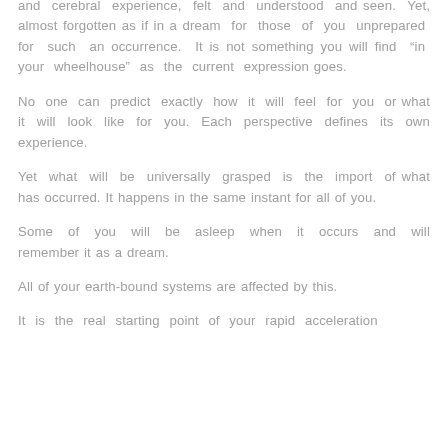and cerebral experience, felt and understood and seen. Yet, almost forgotten as if in a dream for those of you unprepared for such an occurrence. It is not something you will find “in your wheelhouse” as the current expression goes.
No one can predict exactly how it will feel for you or what it will look like for you. Each perspective defines its own experience.
Yet what will be universally grasped is the import of what has occurred. It happens in the same instant for all of you.
Some of you will be asleep when it occurs and will remember it as a dream.
All of your earth-bound systems are affected by this.
It is the real starting point of your rapid acceleration